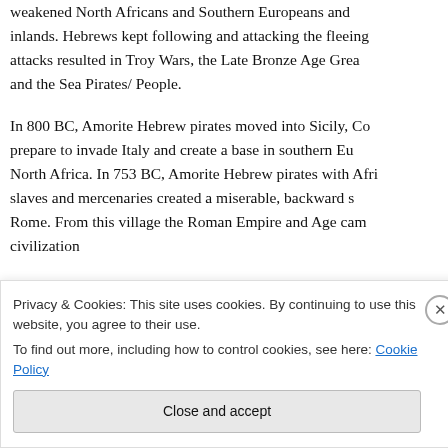weakened North Africans and Southern Europeans and inlands. Hebrews kept following and attacking the fleeing attacks resulted in Troy Wars, the Late Bronze Age Grea and the Sea Pirates/ People.
In 800 BC, Amorite Hebrew pirates moved into Sicily, Co prepare to invade Italy and create a base in southern Eu North Africa. In 753 BC, Amorite Hebrew pirates with Afri slaves and mercenaries created a miserable, backward s Rome. From this village the Roman Empire and Age cam civilization
[Figure (photo): A green banner/image with red and black stripes and Arabic text on a yellowish background strip, followed by a black bar with a red section at the bottom.]
Privacy & Cookies: This site uses cookies. By continuing to use this website, you agree to their use.
To find out more, including how to control cookies, see here: Cookie Policy